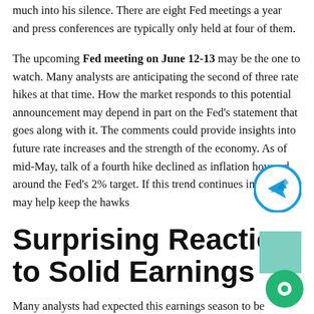much into his silence. There are eight Fed meetings a year and press conferences are typically only held at four of them.
The upcoming Fed meeting on June 12-13 may be the one to watch. Many analysts are anticipating the second of three rate hikes at that time. How the market responds to this potential announcement may depend in part on the Fed's statement that goes along with it. The comments could provide insights into future rate increases and the strength of the economy. As of mid-May, talk of a fourth hike declined as inflation hovered around the Fed's 2% target. If this trend continues in June, it may help keep the hawks
Surprising Reaction to Solid Earnings
Many analysts had expected this earnings season to be